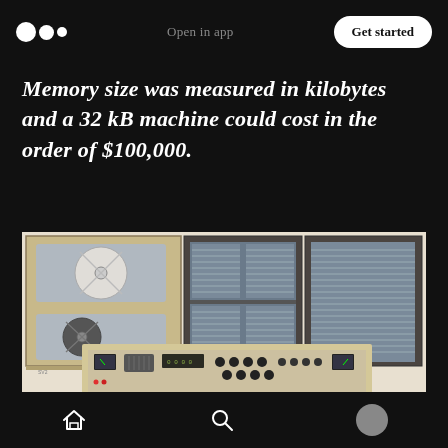Open in app  Get started
Memory size was measured in kilobytes and a 32 kB machine could cost in the order of $100,000.
[Figure (photo): Vintage mainframe computer equipment showing reel-to-reel tape drives on the left, a large server/memory rack unit in the center-right with rows of memory modules, and a control panel console in the foreground with knobs, dials, and meters.]
Home  Search  Profile